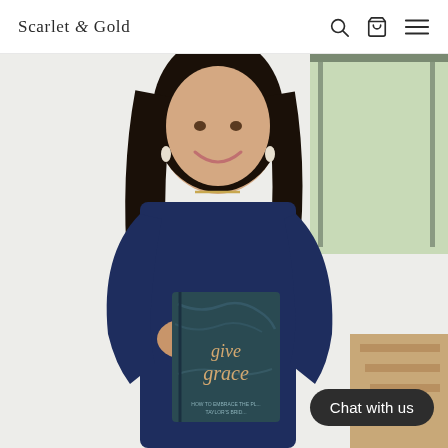Scarlet & Gold
[Figure (photo): Woman in navy blue dress smiling and holding a dark teal book titled 'give grace', standing against a white wall with a window visible in the background]
Chat with us